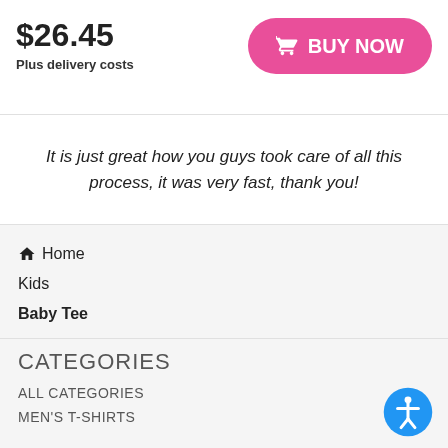$26.45
Plus delivery costs
BUY NOW
It is just great how you guys took care of all this process, it was very fast, thank you!
🏠 Home
Kids
Baby Tee
My Body My Choice Feminist Women's Rights Cute Heart T Shirt Baby Tee
CATEGORIES
ALL CATEGORIES
MEN'S T-SHIRTS